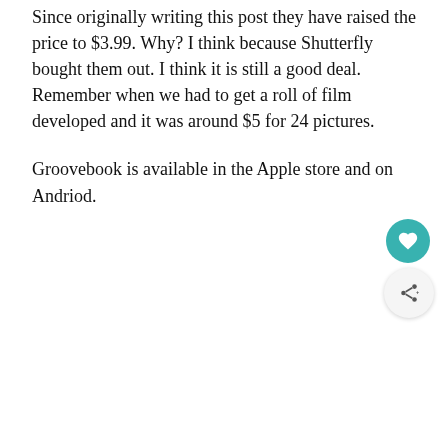Since originally writing this post they have raised the price to $3.99. Why? I think because Shutterfly bought them out. I think it is still a good deal. Remember when we had to get a roll of film developed and it was around $5 for 24 pictures.
Groovebook is available in the Apple store and on Andriod.